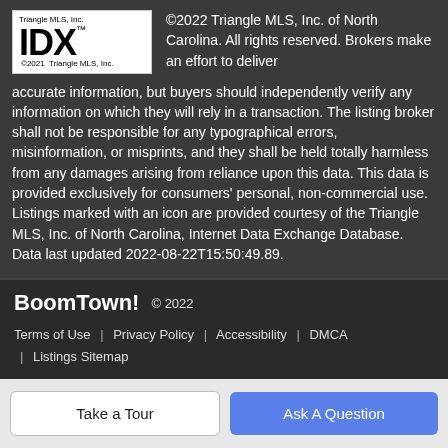[Figure (logo): Triangle MLS, Inc. IDX logo — white box with black text reading 'Triangle MLS, Inc.' and 'IDX™ ©2021 Triangle MLS, Inc.']
©2022 Triangle MLS, Inc. of North Carolina. All rights reserved. Brokers make an effort to deliver accurate information, but buyers should independently verify any information on which they will rely in a transaction. The listing broker shall not be responsible for any typographical errors, misinformation, or misprints, and they shall be held totally harmless from any damages arising from reliance upon this data. This data is provided exclusively for consumers' personal, non-commercial use. Listings marked with an icon are provided courtesy of the Triangle MLS, Inc. of North Carolina, Internet Data Exchange Database. Data last updated 2022-08-22T15:50:49.89.
[Figure (logo): BoomTown! logo in bold white text]
© 2022
Terms of Use | Privacy Policy | Accessibility | DMCA | Listings Sitemap
Take a Tour
Ask A Question